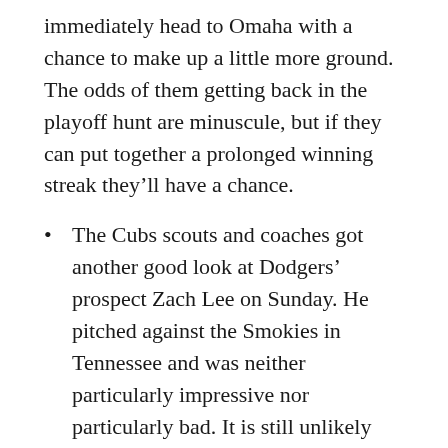immediately head to Omaha with a chance to make up a little more ground. The odds of them getting back in the playoff hunt are minuscule, but if they can put together a prolonged winning streak they'll have a chance.
The Cubs scouts and coaches got another good look at Dodgers' prospect Zach Lee on Sunday. He pitched against the Smokies in Tennessee and was neither particularly impressive nor particularly bad. It is still unlikely that the Cubs could land him in a Ryan Dempster trade, but